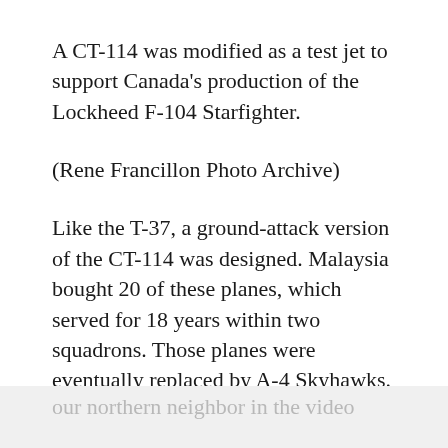A CT-114 was modified as a test jet to support Canada's production of the Lockheed F-104 Starfighter.
(Rene Francillon Photo Archive)
Like the T-37, a ground-attack version of the CT-114 was designed. Malaysia bought 20 of these planes, which served for 18 years within two squadrons. Those planes were eventually replaced by A-4 Skyhawks.
Learn more about this trainer from our northern neighbor in the video below.